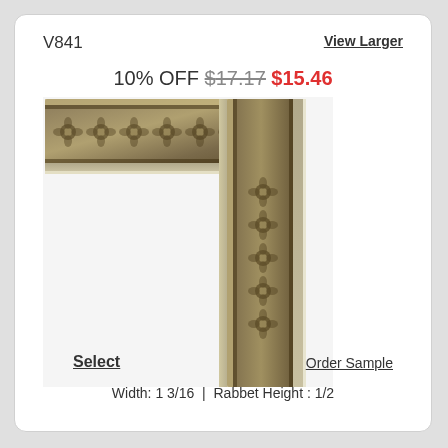V841
View Larger
10% OFF $17.17 $15.46
[Figure (photo): Corner sample of an ornate silver/antique picture frame moulding with floral/medallion embossed pattern, showing both horizontal and vertical sections joined at the corner.]
Select
Order Sample
Width: 1 3/16 | Rabbet Height : 1/2